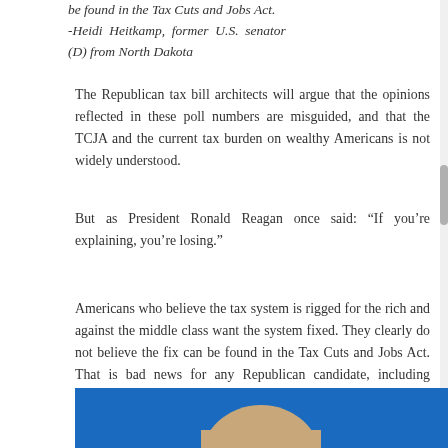be found in the Tax Cuts and Jobs Act. -Heidi Heitkamp, former U.S. senator (D) from North Dakota
The Republican tax bill architects will argue that the opinions reflected in these poll numbers are misguided, and that the TCJA and the current tax burden on wealthy Americans is not widely understood.
But as President Ronald Reagan once said: “If you’re explaining, you’re losing.”
Americans who believe the tax system is rigged for the rich and against the middle class want the system fixed. They clearly do not believe the fix can be found in the Tax Cuts and Jobs Act. That is bad news for any Republican candidate, including President Donald Trump, who want to make the TCJA the centerpiece of their argument for reelection.
[Figure (photo): Partial photo showing a person against a blue background, cropped at bottom of page]